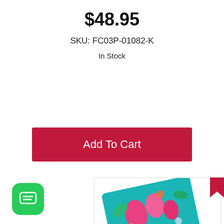$48.95
SKU: FC03P-01082-K
In Stock
Add To Cart
[Figure (photo): Colorful decorative card product image with flamingo and tropical design]
Have a cookie
Accept the use of cookies on this site more information
I Accept